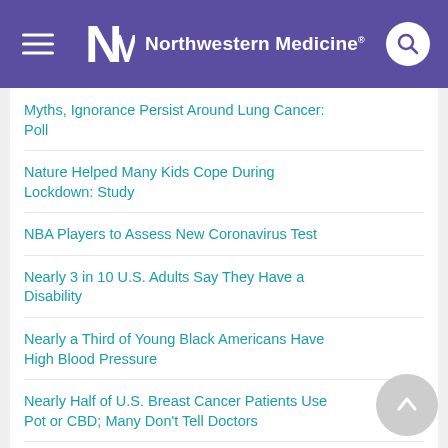Northwestern Medicine
Myths, Ignorance Persist Around Lung Cancer: Poll
Nature Helped Many Kids Cope During Lockdown: Study
NBA Players to Assess New Coronavirus Test
Nearly 3 in 10 U.S. Adults Say They Have a Disability
Nearly a Third of Young Black Americans Have High Blood Pressure
Nearly Half of U.S. Breast Cancer Patients Use Pot or CBD; Many Don't Tell Doctors
Necklace Spots A-Fib in Just Over 30 Seconds
Neighborhood May Affect a Couple's Odds of